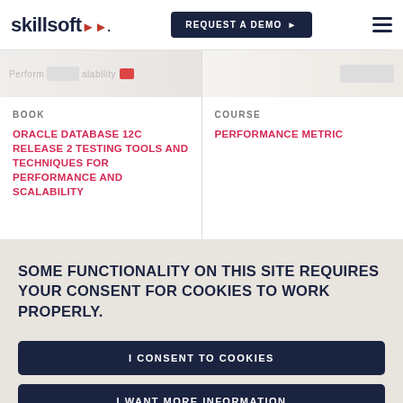skillsoft — REQUEST A DEMO
[Figure (screenshot): Book thumbnail showing Performance and Scalability text with a red button overlay]
BOOK
ORACLE DATABASE 12C RELEASE 2 TESTING TOOLS AND TECHNIQUES FOR PERFORMANCE AND SCALABILITY
COURSE
PERFORMANCE METRIC
SOME FUNCTIONALITY ON THIS SITE REQUIRES YOUR CONSENT FOR COOKIES TO WORK PROPERLY.
I CONSENT TO COOKIES
I WANT MORE INFORMATION